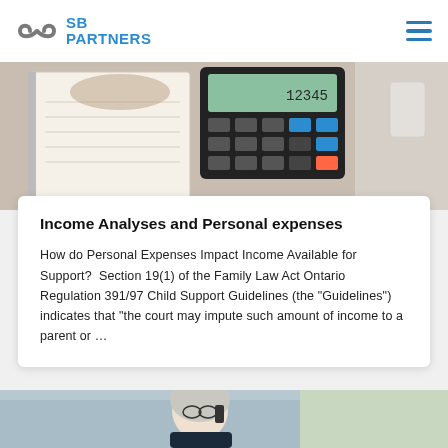SB PARTNERS
[Figure (photo): Close-up of hands writing in a notebook next to a calculator on a desk]
Income Analyses and Personal expenses
How do Personal Expenses Impact Income Available for Support?  Section 19(1) of the Family Law Act Ontario Regulation 391/97 Child Support Guidelines (the "Guidelines") indicates that "the court may impute such amount of income to a parent or …
[Figure (photo): Older woman with curly grey hair and glasses talking on a phone, seated outdoors]